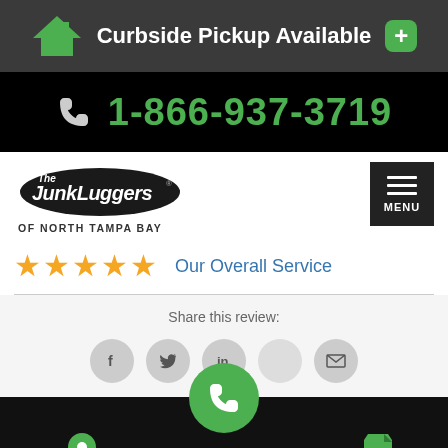Curbside Pickup Available
1-866-937-3719
[Figure (logo): The Junkluggers of North Tampa Bay logo with hamburger menu button]
★★★★★ Our Overall Service
Share this review:
[Figure (infographic): Share icons: Facebook, Twitter, LinkedIn, Pinterest, Email]
SERVICE AREA  [phone button]  BOOK NOW